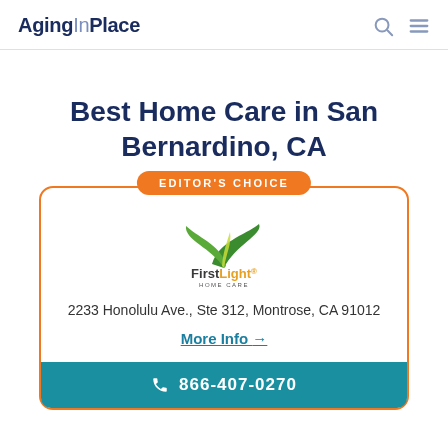AgingInPlace
Best Home Care in San Bernardino, CA
[Figure (logo): FirstLight Home Care logo with green leaf icon and yellow/green brand text]
2233 Honolulu Ave., Ste 312, Montrose, CA 91012
More Info →
866-407-0270